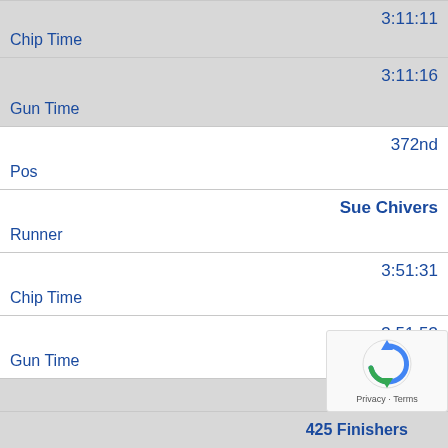| 3:11:11 | Chip Time |
| 3:11:16 | Gun Time |
| 372nd | Pos |
| Sue Chivers | Runner |
| 3:51:31 | Chip Time |
| 3:51:53 | Gun Time |
|  | Pos |
425 Finishers